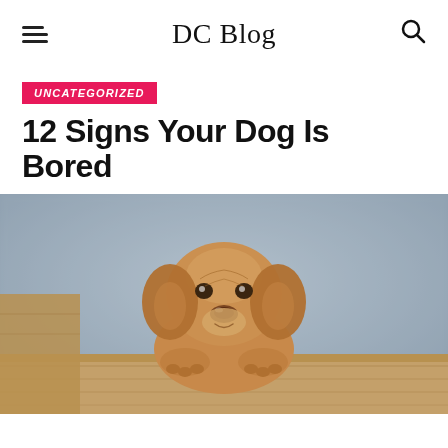DC Blog
UNCATEGORIZED
12 Signs Your Dog Is Bored
[Figure (photo): A golden-brown puppy (Dogue de Bordeaux breed) resting its front paws on a wooden ledge, looking directly at the camera. Background is a blurred blue-grey textured wall.]